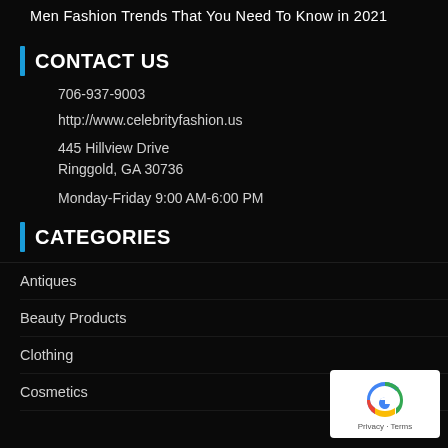Men Fashion Trends That You Need To Know in 2021
CONTACT US
706-937-9003
http://www.celebrityfashion.us
445 Hillview Drive
Ringgold, GA 30736
Monday-Friday 9:00 AM-6:00 PM
CATEGORIES
Antiques
Beauty Products
Clothing
Cosmetics
[Figure (logo): reCAPTCHA badge with Privacy and Terms text]